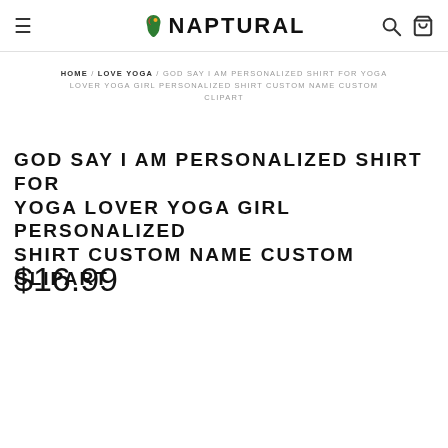NAPTURAL
HOME / LOVE YOGA / GOD SAY I AM PERSONALIZED SHIRT FOR YOGA LOVER YOGA GIRL PERSONALIZED SHIRT CUSTOM NAME CUSTOM CLIPART
GOD SAY I AM PERSONALIZED SHIRT FOR YOGA LOVER YOGA GIRL PERSONALIZED SHIRT CUSTOM NAME CUSTOM CLIPART
$16.99